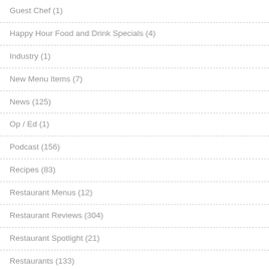Guest Chef (1)
Happy Hour Food and Drink Specials (4)
Industry (1)
New Menu Items (7)
News (125)
Op / Ed (1)
Podcast (156)
Recipes (83)
Restaurant Menus (12)
Restaurant Reviews (304)
Restaurant Spotlight (21)
Restaurants (133)
Wine / Wine Bars (4)